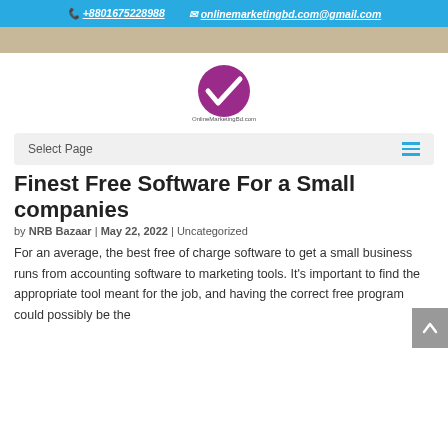+8801675228988  onlinemarketingbd.com@gmail.com
[Figure (logo): OnlineMarketingBd.com logo — purple circle with white checkmark and brand name below]
Select Page
Finest Free Software For a Small companies
by NRB Bazaar | May 22, 2022 | Uncategorized
For an average, the best free of charge software to get a small business runs from accounting software to marketing tools. It's important to find the appropriate tool meant for the job, and having the correct free program could possibly be the